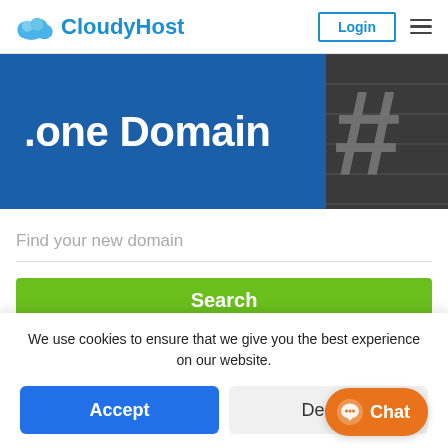[Figure (logo): CloudyHost logo with a blue cloud icon and blue text 'CloudyHost']
Login
[Figure (screenshot): Hero banner with dark blue background showing '.one Domain' in large white bold text, with a dark textured image panel on the right showing hashtag symbols]
Find your new domain
Search
We use cookies to ensure that we give you the best experience on our website.
Accept
Decline
Chat